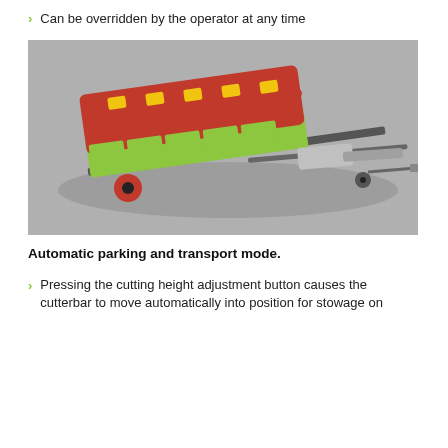Can be overridden by the operator at any time
[Figure (photo): Agricultural header/cutterbar unit mounted on a transport trailer, viewed from above at an angle. The machine is green and red (CLAAS brand colors), on a grey surface.]
Automatic parking and transport mode.
Pressing the cutting height adjustment button causes the cutterbar to move automatically into position for stowage on